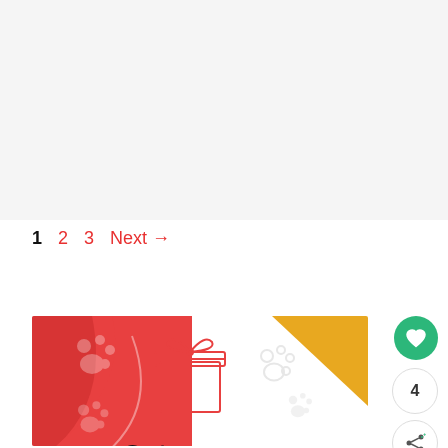[Figure (other): Gray background placeholder area (advertisement or image slot)]
1  2  3  Next →
[Figure (illustration): Pet gift card illustration with red background featuring paw prints, a gift box outline, and yellow corner accent with paw prints]